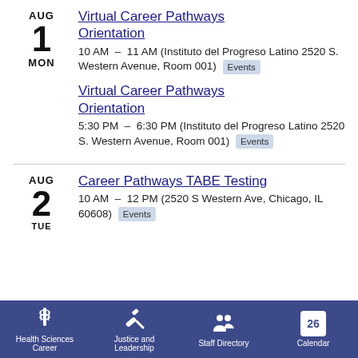AUG 1 MON — Virtual Career Pathways Orientation — 10 AM – 11 AM (Instituto del Progreso Latino 2520 S. Western Avenue, Room 001) Events
Virtual Career Pathways Orientation — 5:30 PM – 6:30 PM (Instituto del Progreso Latino 2520 S. Western Avenue, Room 001) Events
AUG 2 TUE — Career Pathways TABE Testing — 10 AM – 12 PM (2520 S Western Ave, Chicago, IL 60608) Events
Health Sciences Career | Justice and Leadership | Staff Directory | Calendar